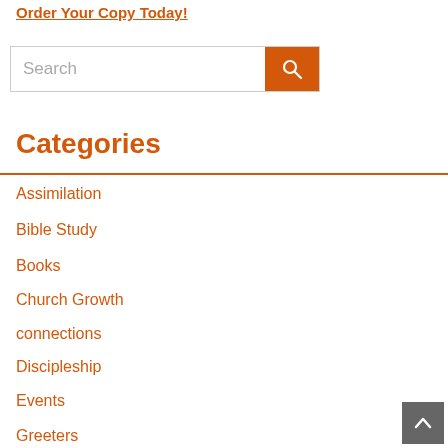Order Your Copy Today!
[Figure (screenshot): Search bar with text input field and orange search button with magnifying glass icon]
Categories
Assimilation
Bible Study
Books
Church Growth
connections
Discipleship
Events
Greeters
Journaling